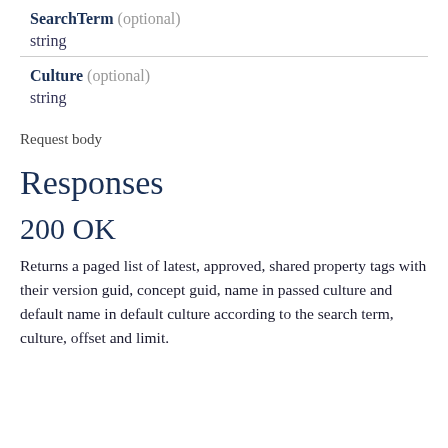SearchTerm (optional)
string
Culture (optional)
string
Request body
Responses
200 OK
Returns a paged list of latest, approved, shared property tags with their version guid, concept guid, name in passed culture and default name in default culture according to the search term, culture, offset and limit.